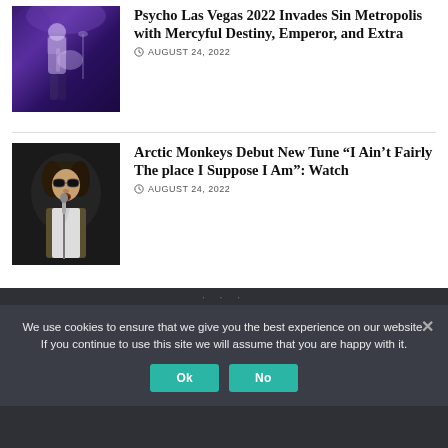[Figure (photo): Person playing guitar on stage under blue/purple stage lighting]
Psycho Las Vegas 2022 Invades Sin Metropolis with Mercyful Destiny, Emperor, and Extra
AUGUST 24, 2022
[Figure (photo): Singer performing at a microphone, wearing sunglasses and jacket, dark background]
Arctic Monkeys Debut New Tune “I Ain’t Fairly The place I Suppose I Am”: Watch
AUGUST 24, 2022
We use cookies to ensure that we give you the best experience on our website. If you continue to use this site we will assume that you are happy with it.
Ok
No